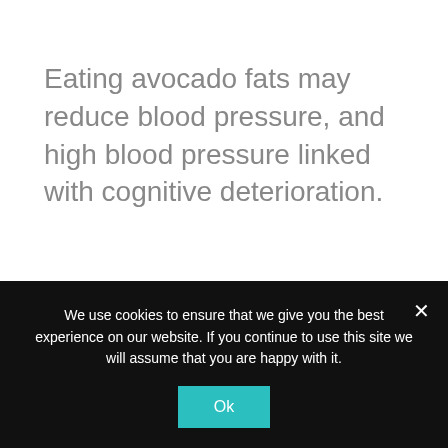Eating avocado fats may reduce blood pressure, and high blood pressure linked with cognitive deterioration.
BRAINHEALTH
HEALTH
HEALTHY FOODS
[Figure (infographic): Social sharing icons row: heart with count 0, Facebook, Twitter, LinkedIn, Pinterest]
We use cookies to ensure that we give you the best experience on our website. If you continue to use this site we will assume that you are happy with it.